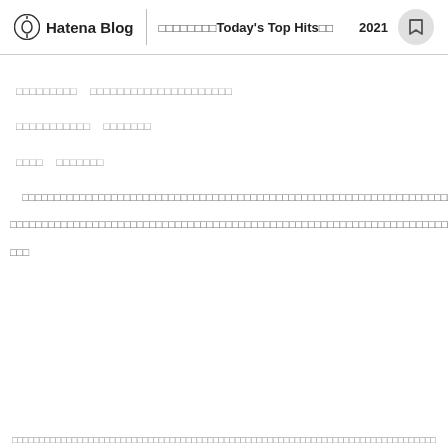Hatena Blog | □□□□□□□□Today's Top Hits□□ 2021
□□□□□□□□□　□□□□□□□□□□□□□□□□□□□□□
□□□□□□□□□□□　□□□□□□□
□□□□　□□□□□□□
□□□□□□□□□□□□□□□□□□□□□□□□□□□□□□□□□□□□□□□□□□□□□□□□□□□□□□□□□□□□□□□□□□□□□□□□□□□□□□□□□□□□□□□□□□□□□□□□□□□□□□□□□□□□□□□□□□□□□□□□□□□□□□□□□□□□□□□□□□□□□□□□□□□□□□□□□□□□□□□□□□□□□□□□□□□□□□□□□□□□□□□□□□□□□□□□□□□□□□□□□□□□□□□□□□□□□□□□□□□□□□□□□□□□□□□□□□□□□□□□□□□□□□□□□□□□□□□□□□□□□□□□□□□□□□□□□□□□□□□□□□□□□□□□□□□□□□□□□□□□□□□□□□□□□□□□□□□□□□□□
□□□□□□□□□□□□□□□□□□□□□□□□□□□□□□□□□□□□□□□□□□□□□□□□□□□□□□□□□□□□□□□□□□□□□□□□□□□□□□□□□□□□□□□□□□□□□□□□□□□□□□□□□□□□□□□□□□□□□□□□□□□□□□□□□□□□□□□□□□□□□□□□□□□□□□□□□□□□□□□□□□□□□□□□□□□□□□□□□□□□□□□□□□□□□□□□□□□□□□□□□□□□□□□□□□□□□□□□□□□□□□□□□□□□□□□□□□□□□□□□□□□□□□□□□□□□□□□□□□□□□□□□□□□□□□□□□□□□□□□□□□□□□□□□□□□□□□□□□□□□□□□□□□□□□□□□□□□□□□□□□□□□□□□□□□□□□□□□□□□□□□□□□□□□□□□